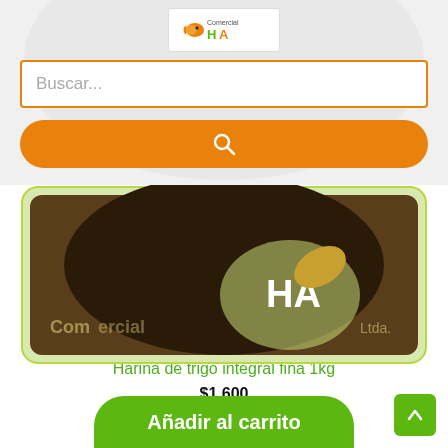[Figure (logo): Comercial HA logo with goldfish icon]
[Figure (screenshot): Search input bar with orange border and placeholder text 'Buscar...']
[Figure (screenshot): Orange rounded search button with magnifying glass icon]
[Figure (photo): Product photo of whole wheat flour 1kg package with dark bowl and Comercial HA Ltda. branding]
Harinas
Harina de trigo integral fina 1kg
$1.600
[Figure (screenshot): Green rounded 'Añadir al carrito' button]
[Figure (screenshot): Green back-to-top arrow button in bottom right corner]